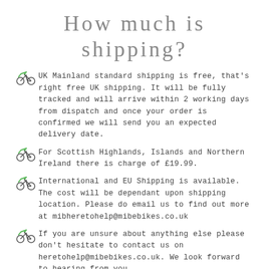How much is shipping?
UK Mainland standard shipping is free, that's right free UK shipping. It will be fully tracked and will arrive within 2 working days from dispatch and once your order is confirmed we will send you an expected delivery date.
For Scottish Highlands, Islands and Northern Ireland there is charge of £19.99.
International and EU Shipping is available. The cost will be dependant upon shipping location. Please do email us to find out more at mibheretohelp@mibebikes.co.uk
If you are unsure about anything else please don't hesitate to contact us on heretohelp@mibebikes.co.uk. We look forward to hearing from you.